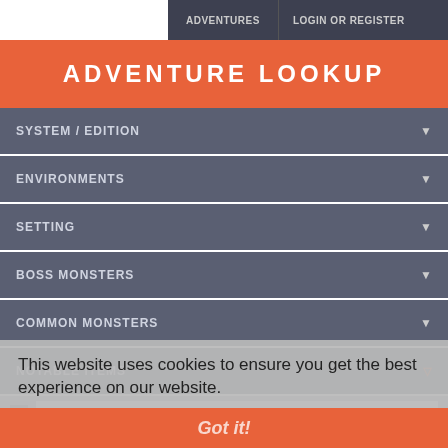ADVENTURES | LOGIN OR REGISTER
ADVENTURE LOOKUP
SYSTEM / EDITION
ENVIRONMENTS
SETTING
BOSS MONSTERS
COMMON MONSTERS
NOTABLE ITEMS
This website uses cookies to ensure you get the best experience on our website.
Learn more
WAND OF FIREBALLS  16
RING OF PROTECTION  7
BAG OF HOLDING  3
Got it!